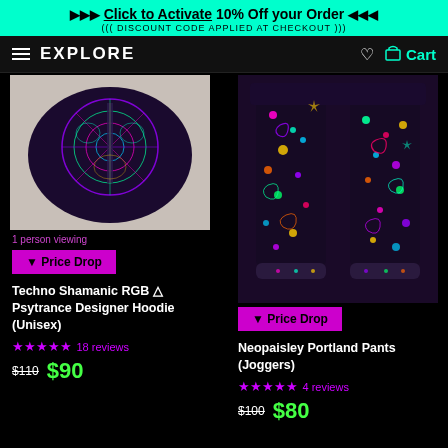Click to Activate 10% Off your Order | ((( DISCOUNT CODE APPLIED AT CHECKOUT )))
EXPLORE | Cart
[Figure (photo): Colorful psychedelic RGB hoodie with mandala/geometric pattern, shown from below on a beige/tan background]
1 person viewing
▼ Price Drop
Techno Shamanic RGB △ Psytrance Designer Hoodie (Unisex)
★★★★★ 18 reviews
$110 $90
[Figure (photo): Neopaisley jogger pants with colorful galaxy/floral pattern on black background, shown as a pair of pants]
▼ Price Drop
Neopaisley Portland Pants (Joggers)
★★★★★ 4 reviews
$100 $80